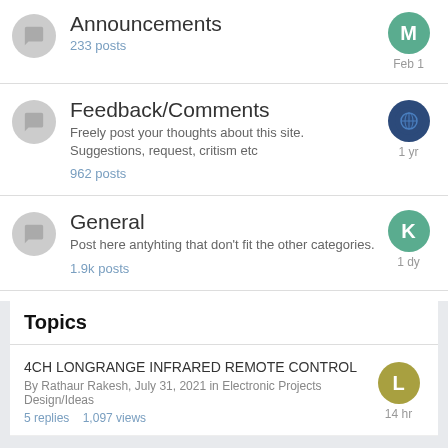Announcements
233 posts
Feedback/Comments
Freely post your thoughts about this site. Suggestions, request, critism etc
962 posts
General
Post here antyhting that don't fit the other categories.
1.9k posts
Topics
4CH LONGRANGE INFRARED REMOTE CONTROL
By Rathaur Rakesh, July 31, 2021 in Electronic Projects Design/Ideas
5 replies   1,097 views